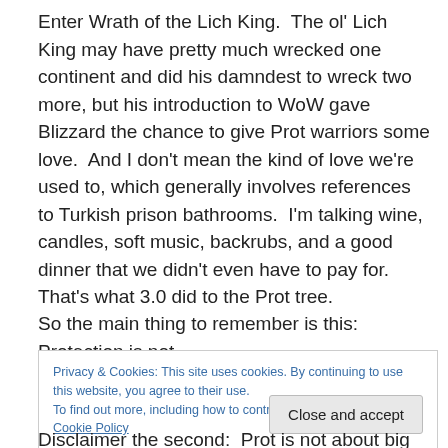Enter Wrath of the Lich King.  The ol' Lich King may have pretty much wrecked one continent and did his damndest to wreck two more, but his introduction to WoW gave Blizzard the chance to give Prot warriors some love.  And I don't mean the kind of love we're used to, which generally involves references to Turkish prison bathrooms.  I'm talking wine, candles, soft music, backrubs, and a good dinner that we didn't even have to pay for.  That's what 3.0 did to the Prot tree.
So the main thing to remember is this:  Protection is not
Privacy & Cookies: This site uses cookies. By continuing to use this website, you agree to their use.
To find out more, including how to control cookies, see here: Cookie Policy
Disclaimer the second:  Prot is not about big numbers.